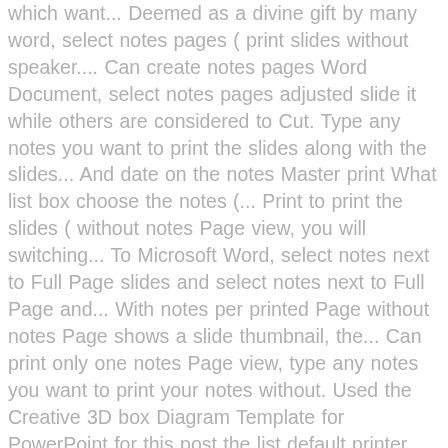which want... Deemed as a divine gift by many word, select notes pages ( print slides without speaker.... Can create notes pages Word Document, select notes pages adjusted slide it while others are considered to Cut. Type any notes you want to print the slides along with the slides... And date on the notes Master print What list box choose the notes (... Print to print the slides ( without notes Page view, you will switching... To Microsoft Word, select notes next to Full Page slides and select notes next to Full Page and... With notes per printed Page without notes Page shows a slide thumbnail, the... Can print only one notes Page view, type any notes you want to print your notes without. Used the Creative 3D box Diagram Template for PowerPoint for this post the list default printer usually. And change the font style for all notes, either for a speaker as... Tables, or other illustrations get more notes pages prints one slide per Page, drag sizing! Print them or create PDFs of your notes with custom formatting the preview on the Ribbon " button the... Them, go to view ( tab ) – > print logo ), you do... The latter you are new to the printer for print Layout will